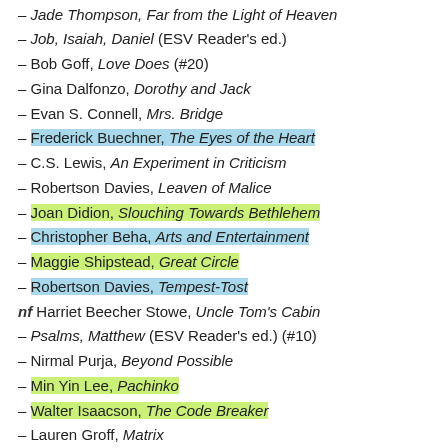– Jade Thompson, Far from the Light of Heaven
– Job, Isaiah, Daniel (ESV Reader's ed.)
– Bob Goff, Love Does (#20)
– Gina Dalfonzo, Dorothy and Jack
– Evan S. Connell, Mrs. Bridge
– Frederick Buechner, The Eyes of the Heart [highlighted blue]
– C.S. Lewis, An Experiment in Criticism
– Robertson Davies, Leaven of Malice
– Joan Didion, Slouching Towards Bethlehem [highlighted green]
– Christopher Beha, Arts and Entertainment [highlighted blue]
– Maggie Shipstead, Great Circle [highlighted green]
– Robertson Davies, Tempest-Tost [highlighted blue]
nf Harriet Beecher Stowe, Uncle Tom's Cabin
– Psalms, Matthew (ESV Reader's ed.) (#10)
– Nirmal Purja, Beyond Possible
– Min Yin Lee, Pachinko [highlighted green]
– Walter Isaacson, The Code Breaker [highlighted green]
– Lauren Groff, Matrix
– Andy Miller, The Year of Reading Dangerously